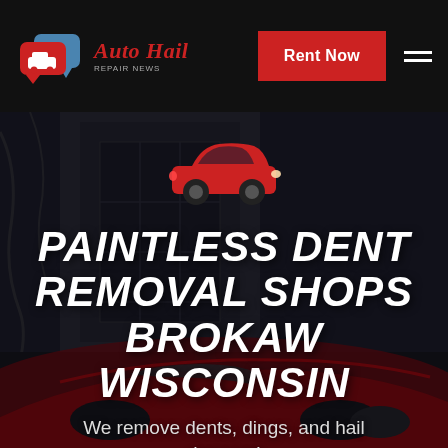[Figure (logo): Auto Hail Repair News logo with red car speech bubble icon and red italic cursive text]
Rent Now
[Figure (illustration): Dark moody background photo of a red sports car and ornate building architecture, with a red car icon overlay and large white bold italic text reading PAINTLESS DENT REMOVAL SHOPS BROKAW WISCONSIN and subtitle We remove dents, dings, and hail damage!]
PAINTLESS DENT REMOVAL SHOPS BROKAW WISCONSIN
We remove dents, dings, and hail damage!